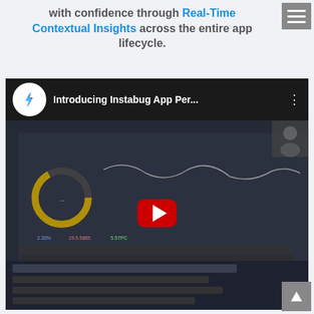with confidence through Real-Time Contextual Insights across the entire app lifecycle.
[Figure (screenshot): YouTube video thumbnail for 'Introducing Instabug App Per...' showing a dashboard screenshot with charts and a red YouTube play button overlay, with the Instabug logo in a white circle on the left of the title bar.]